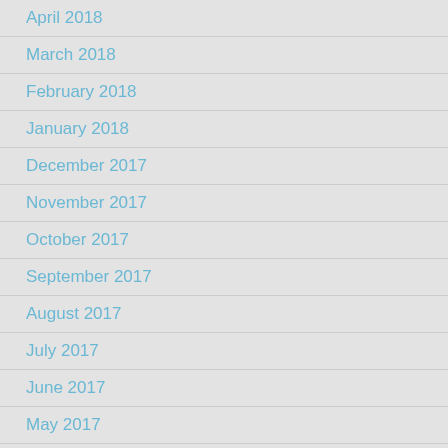April 2018
March 2018
February 2018
January 2018
December 2017
November 2017
October 2017
September 2017
August 2017
July 2017
June 2017
May 2017
April 2017